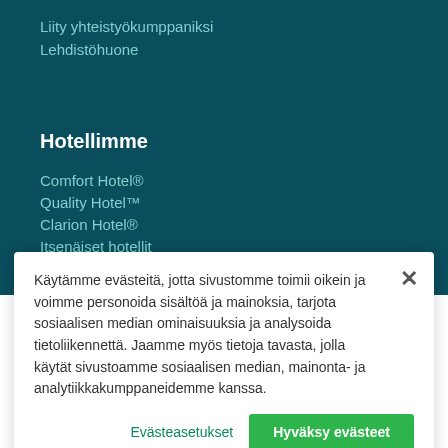Liity yhteistyökumppaniksi
Lehdistöhuone
Hotellimme
Comfort Hotel®
Quality Hotel™
Clarion Hotel®
Itsenäiset hotellit
Lentokenttähotellit
Spa hotels
Käytämme evästeitä, jotta sivustomme toimii oikein ja voimme personoida sisältöä ja mainoksia, tarjota sosiaalisen median ominaisuuksia ja analysoida tietoliikennettä. Jaamme myös tietoja tavasta, jolla käytät sivustoamme sosiaalisen median, mainonta- ja analytiikkakumppaneidemme kanssa.
Evästeasetukset
Hyväksy evästeet